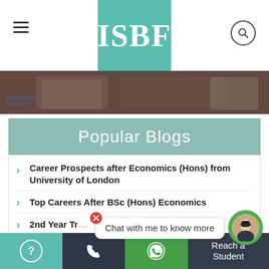ISBF
[Figure (screenshot): Hero banner image showing a desk with laptop, papers and office items with dark overlay]
Popular Blogs
Career Prospects after Economics (Hons) from University of London
Top Careers After BSc (Hons) Economics
2nd Year Tr...
Dr Kaushik Basu: From LSE to World Bank
ISBF: An LSE Education in India
[Figure (screenshot): Chat widget popup with avatar and message 'Chat with me to know more' with close button]
? | Phone | WhatsApp | Reach a Student